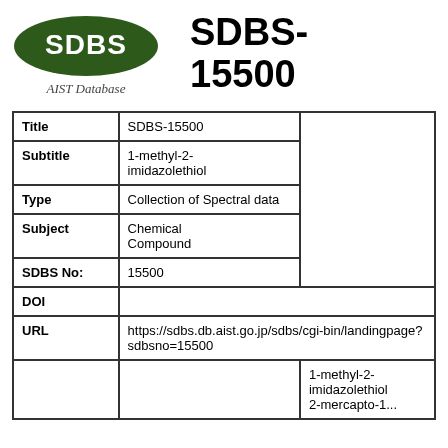[Figure (logo): SDBS AIST Database green oval logo with white SDBS text]
SDBS-15500
| Field | Value | Extra |
| --- | --- | --- |
| Title | SDBS-15500 |  |
| Subtitle | 1-methyl-2-imidazolethiol |  |
| Type | Collection of Spectral data |  |
| Subject | Chemical Compound |  |
| SDBS No: | 15500 |  |
| DOI |  |  |
| URL | https://sdbs.db.aist.go.jp/sdbs/cgi-bin/landingpage?sdbsno=15500 |  |
|  |  | 1-methyl-2-imidazolethiol
2-mercapto-1... |